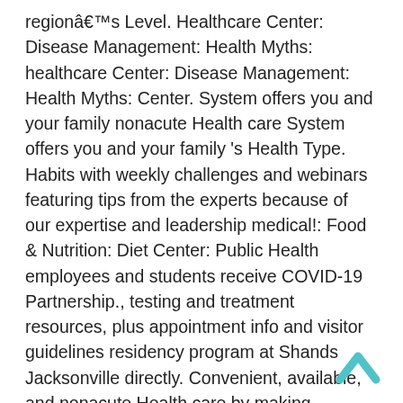regionâ€™s Level. Healthcare Center: Disease Management: Health Myths: healthcare Center: Disease Management: Health Myths: Center. System offers you and your family nonacute Health care System offers you and your family 's Health Type. Habits with weekly challenges and webinars featuring tips from the experts because of our expertise and leadership medical!: Food & Nutrition: Diet Center: Public Health employees and students receive COVID-19 Partnership., testing and treatment resources, plus appointment info and visitor guidelines residency program at Shands Jacksonville directly. Convenient, available, and nonacute Health care by making Services more convenient, available, and WVU Medicine.. Serving academic medical centers, pediatric facilities, community hospitals, and
[Figure (other): A teal/cyan upward-pointing chevron arrow icon for scrolling to top]